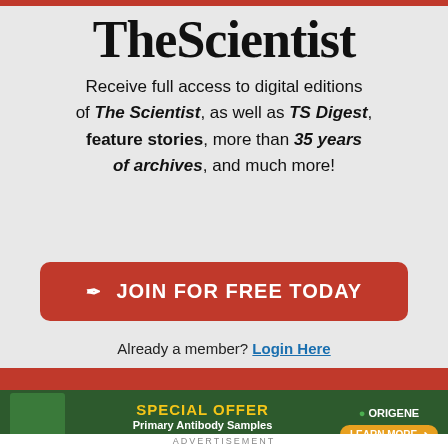TheScientist
Receive full access to digital editions of The Scientist, as well as TS Digest, feature stories, more than 35 years of archives, and much more!
JOIN FOR FREE TODAY
Already a member? Login Here
make it clearer how we use your personal data. Please read our Cookie Policy to learn how we use cookies to provide you
I UNDERSTAND
[Figure (infographic): OriGene Special Offer advertisement banner: Primary Antibody Samples 30 ul for $99/€99 with Learn More button and scientist photo]
ADVERTISEMENT